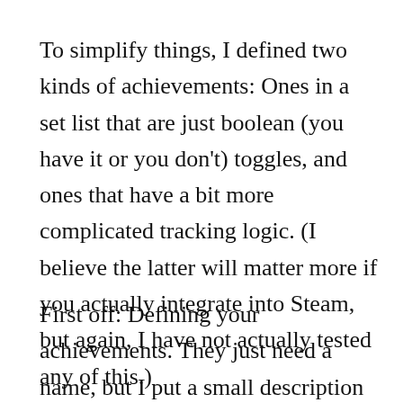To simplify things, I defined two kinds of achievements: Ones in a set list that are just boolean (you have it or you don't) toggles, and ones that have a bit more complicated tracking logic. (I believe the latter will matter more if you actually integrate into Steam, but again, I have not actually tested any of this.)
First off: Defining your achievements. They just need a name, but I put a small description with them for UI display. Note the tuple